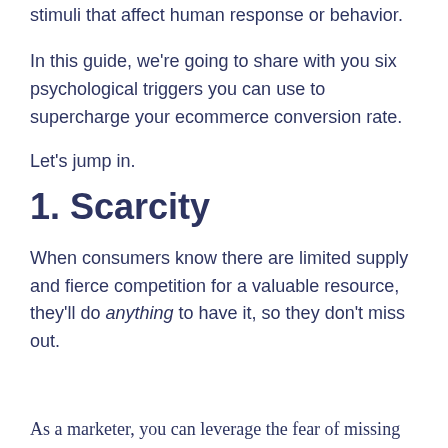stimuli that affect human response or behavior.
In this guide, we're going to share with you six psychological triggers you can use to supercharge your ecommerce conversion rate.
Let's jump in.
1. Scarcity
When consumers know there are limited supply and fierce competition for a valuable resource, they'll do anything to have it, so they don't miss out.
As a marketer, you can leverage the fear of missing